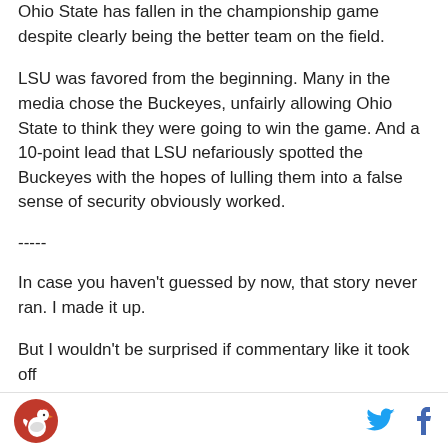Ohio State has fallen in the championship game despite clearly being the better team on the field.
LSU was favored from the beginning. Many in the media chose the Buckeyes, unfairly allowing Ohio State to think they were going to win the game. And a 10-point lead that LSU nefariously spotted the Buckeyes with the hopes of lulling them into a false sense of security obviously worked.
-----
In case you haven't guessed by now, that story never ran. I made it up.
But I wouldn't be surprised if commentary like it took off